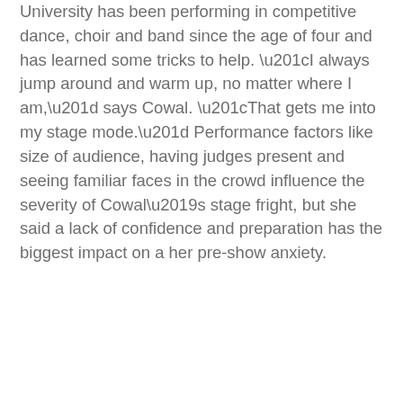University has been performing in competitive dance, choir and band since the age of four and has learned some tricks to help. “I always jump around and warm up, no matter where I am,” says Cowal. “That gets me into my stage mode.” Performance factors like size of audience, having judges present and seeing familiar faces in the crowd influence the severity of Cowal’s stage fright, but she said a lack of confidence and preparation has the biggest impact on a her pre-show anxiety.